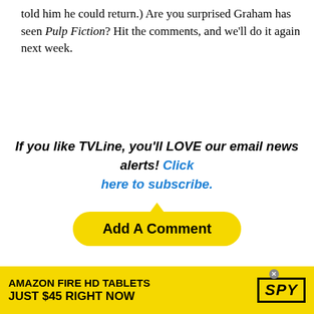told him he could return.) Are you surprised Graham has seen Pulp Fiction? Hit the comments, and we'll do it again next week.
If you like TVLine, you'll LOVE our email news alerts! Click here to subscribe.
[Figure (other): Yellow speech-bubble style button with text 'Add A Comment']
TAGS: BBC AMERICA, DOCTOR WHO
GET MORE: RECAPS
[Figure (other): Black video/ad panel with circular X close button]
[Figure (other): Yellow advertisement bar: AMAZON FIRE HD TABLETS JUST $45 RIGHT NOW / SPY logo]